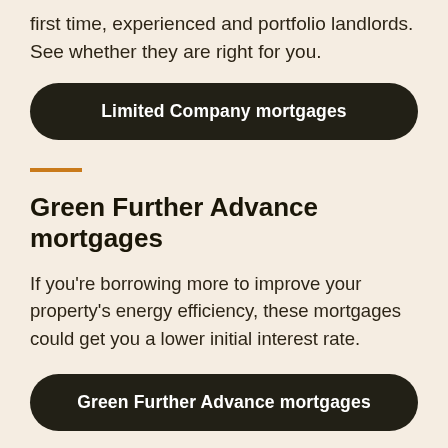first time, experienced and portfolio landlords. See whether they are right for you.
Limited Company mortgages
Green Further Advance mortgages
If you're borrowing more to improve your property's energy efficiency, these mortgages could get you a lower initial interest rate.
Green Further Advance mortgages